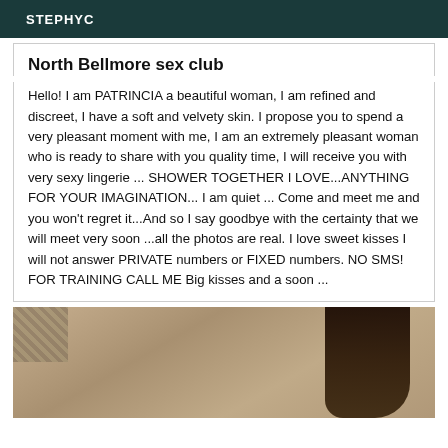STEPHYC
North Bellmore sex club
Hello! I am PATRINCIA a beautiful woman, I am refined and discreet, I have a soft and velvety skin. I propose you to spend a very pleasant moment with me, I am an extremely pleasant woman who is ready to share with you quality time, I will receive you with very sexy lingerie ... SHOWER TOGETHER I LOVE...ANYTHING FOR YOUR IMAGINATION... I am quiet ... Come and meet me and you won't regret it...And so I say goodbye with the certainty that we will meet very soon ...all the photos are real. I love sweet kisses I will not answer PRIVATE numbers or FIXED numbers. NO SMS! FOR TRAINING CALL ME Big kisses and a soon ...
[Figure (photo): Partial photo of a woman with dark hair against a brown/tan background with a patterned surface visible in the upper left corner]